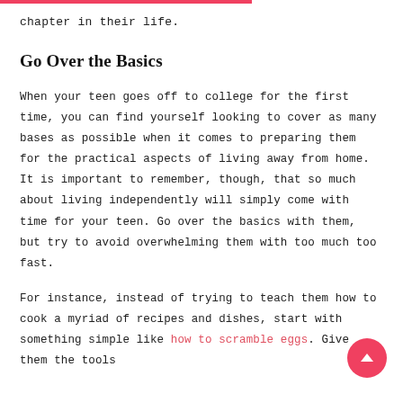chapter in their life.
Go Over the Basics
When your teen goes off to college for the first time, you can find yourself looking to cover as many bases as possible when it comes to preparing them for the practical aspects of living away from home. It is important to remember, though, that so much about living independently will simply come with time for your teen. Go over the basics with them, but try to avoid overwhelming them with too much too fast.
For instance, instead of trying to teach them how to cook a myriad of recipes and dishes, start with something simple like how to scramble eggs. Give them the tools